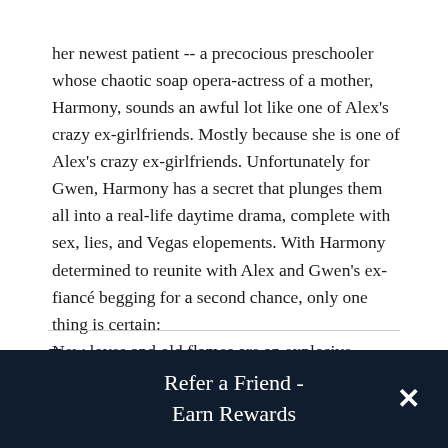her newest patient -- a precocious preschooler whose chaotic soap opera-actress of a mother, Harmony, sounds an awful lot like one of Alex's crazy ex-girlfriends. Mostly because she is one of Alex's crazy ex-girlfriends. Unfortunately for Gwen, Harmony has a secret that plunges them all into a real-life daytime drama, complete with sex, lies, and Vegas elopements. With Harmony determined to reunite with Alex and Gwen's ex-fiancé begging for a second chance, only one thing is certain:
New loves and old flames are an explosive combination.
Excerpt
Refer a Friend - Earn Rewards